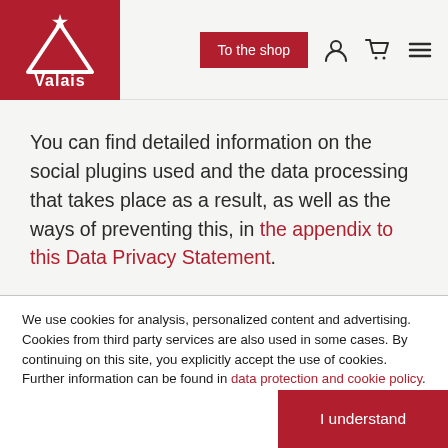Valais | To the shop
You can find detailed information on the social plugins used and the data processing that takes place as a result, as well as the ways of preventing this, in the appendix to this Data Privacy Statement.
We use cookies for analysis, personalized content and advertising. Cookies from third party services are also used in some cases. By continuing on this site, you explicitly accept the use of cookies. Further information can be found in data protection and cookie policy.